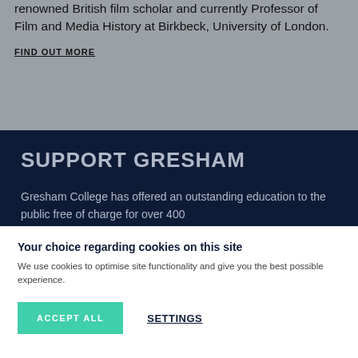renowned British film scholar and currently Professor of Film and Media History at Birkbeck, University of London.
FIND OUT MORE
SUPPORT GRESHAM
Gresham College has offered an outstanding education to the public free of charge for over 400
Your choice regarding cookies on this site
We use cookies to optimise site functionality and give you the best possible experience.
ACCEPT ALL
SETTINGS